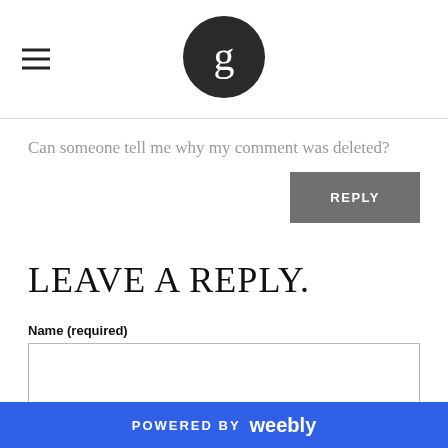[Figure (logo): Page header with hamburger menu icon on the left and a dark circular logo with a stylized 'g' in the center]
Can someone tell me why my comment was deleted?
REPLY
LEAVE A REPLY.
Name (required)
Email (not published)
POWERED BY weebly